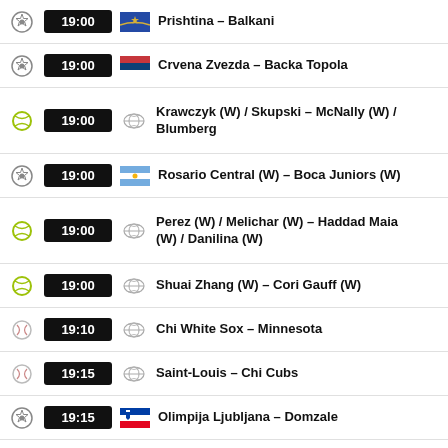19:00 Prishtina – Balkani
19:00 Crvena Zvezda – Backa Topola
19:00 Krawczyk (W) / Skupski – McNally (W) / Blumberg
19:00 Rosario Central (W) – Boca Juniors (W)
19:00 Perez (W) / Melichar (W) – Haddad Maia (W) / Danilina (W)
19:00 Shuai Zhang (W) – Cori Gauff (W)
19:10 Chi White Sox – Minnesota
19:15 Saint-Louis – Chi Cubs
19:15 Olimpija Ljubljana – Domzale